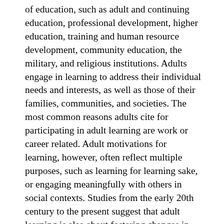of education, such as adult and continuing education, professional development, higher education, training and human resource development, community education, the military, and religious institutions. Adults engage in learning to address their individual needs and interests, as well as those of their families, communities, and societies. The most common reasons adults cite for participating in adult learning are work or career related. Adult motivations for learning, however, often reflect multiple purposes, such as learning for learning sake, or engaging meaningfully with others in social contexts. Studies from the early 20th century to the present suggest that adult learning is also about fostering changes in one's sense of self.
Not surprisingly, therefore, in the process of adult learning, the self of the learner is intimately drawn into